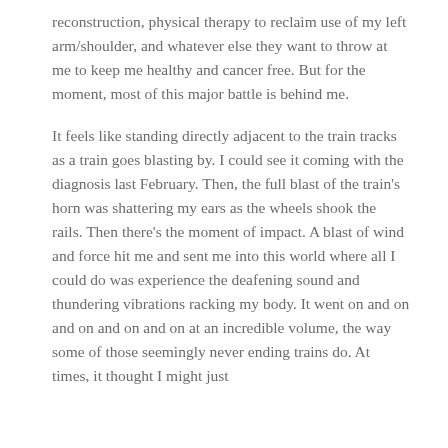reconstruction, physical therapy to reclaim use of my left arm/shoulder, and whatever else they want to throw at me to keep me healthy and cancer free. But for the moment, most of this major battle is behind me.
It feels like standing directly adjacent to the train tracks as a train goes blasting by. I could see it coming with the diagnosis last February. Then, the full blast of the train's horn was shattering my ears as the wheels shook the rails. Then there's the moment of impact. A blast of wind and force hit me and sent me into this world where all I could do was experience the deafening sound and thundering vibrations racking my body. It went on and on and on and on and on at an incredible volume, the way some of those seemingly never ending trains do. At times, it thought I might just